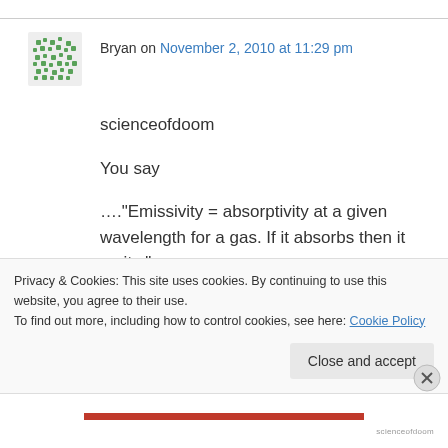Bryan on November 2, 2010 at 11:29 pm
scienceofdoom
You say
…."Emissivity = absorptivity at a given wavelength for a gas. If it absorbs then it emits."……
Then presumably this means any photon absorbed leads to a similar one being emitted
Privacy & Cookies: This site uses cookies. By continuing to use this website, you agree to their use.
To find out more, including how to control cookies, see here: Cookie Policy
Close and accept